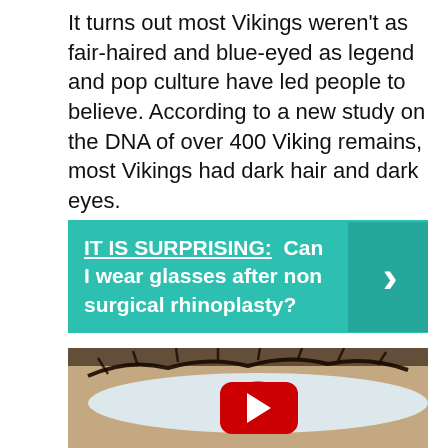It turns out most Vikings weren't as fair-haired and blue-eyed as legend and pop culture have led people to believe. According to a new study on the DNA of over 400 Viking remains, most Vikings had dark hair and dark eyes.
[Figure (infographic): Teal/green banner with bold white text reading 'IT IS SURPRISING: Can I wear glasses after non surgical rhinoplasty?' with a right arrow chevron on the right side]
[Figure (photo): Close-up photo of a blue/grey human eye with eyelashes, with a red YouTube play button overlay in the center]